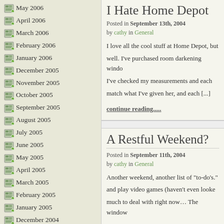May 2006
April 2006
March 2006
February 2006
January 2006
December 2005
November 2005
October 2005
September 2005
August 2005
July 2005
June 2005
May 2005
April 2005
March 2005
February 2005
January 2005
December 2004
November 2004
October 2004
September 2004
I Hate Home Depot
Posted in September 13th, 2004 by cathy in General
I love all the cool stuff at Home Depot, but well. I've purchased room darkening windo I've checked my measurements and each match what I've given her, and each [...]
continue reading.....
A Restful Weekend?
Posted in September 11th, 2004 by cathy in General
Another weekend, another list of "to-do's." and play video games (haven't even looke much to deal with right now... The window